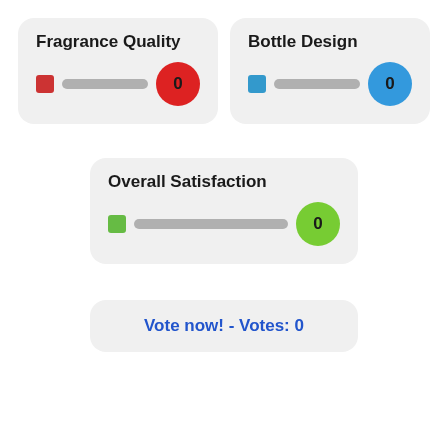[Figure (infographic): Fragrance Quality slider card with red square thumb, gray track, and red circle showing value 0]
[Figure (infographic): Bottle Design slider card with blue square thumb, gray track, and blue circle showing value 0]
[Figure (infographic): Overall Satisfaction slider card with green square thumb, gray track, and green circle showing value 0]
Vote now! - Votes: 0